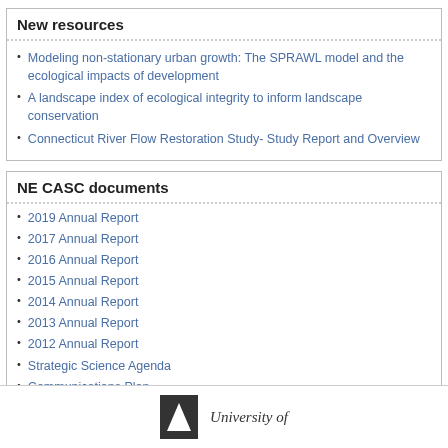New resources
Modeling non-stationary urban growth: The SPRAWL model and the ecological impacts of development
A landscape index of ecological integrity to inform landscape conservation
Connecticut River Flow Restoration Study- Study Report and Overview
NE CASC documents
2019 Annual Report
2017 Annual Report
2016 Annual Report
2015 Annual Report
2014 Annual Report
2013 Annual Report
2012 Annual Report
Strategic Science Agenda
Communications Plan
All NE CASC Handouts
[Figure (logo): University logo — dark square with white triangle/monument icon, followed by italic text 'University of']